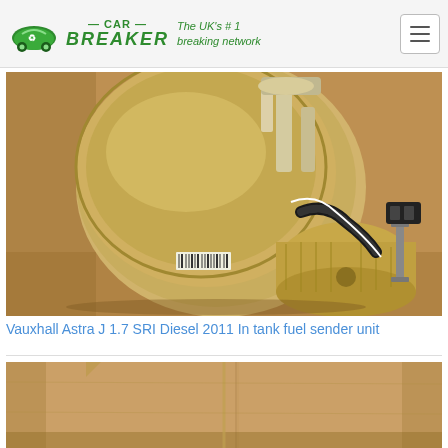CAR BREAKER — The UK's #1 breaking network
[Figure (photo): Vauxhall Astra J 1.7 SRI Diesel 2011 in-tank fuel sender unit removed from vehicle, showing circular metal flange plate with tubes and wiring, placed on cardboard surface]
Vauxhall Astra J 1.7 SRI Diesel 2011 In tank fuel sender unit
[Figure (photo): Partial view of another car part on cardboard surface, bottom of page]